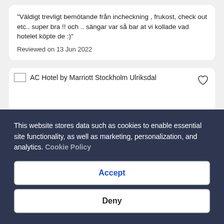"Väldigt trevligt bemötande från incheckning , frukost, check out etc.. super bra !! och .. sängar var så bar at vi kollade vad hotelet köpte de :)"
Reviewed on 13 Jun 2022
[Figure (screenshot): AC Hotel by Marriott Stockholm Ulriksdal hotel listing card with broken image placeholder and heart/favorite icon]
This website stores data such as cookies to enable essential site functionality, as well as marketing, personalization, and analytics. Cookie Policy
Accept
Deny